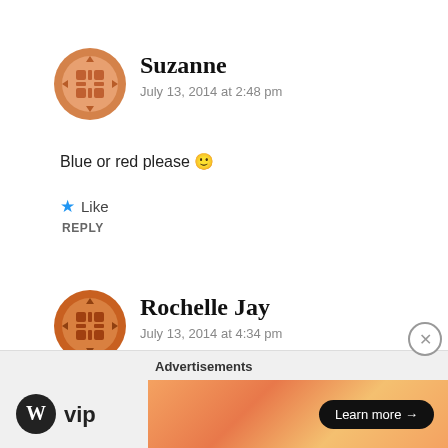[Figure (illustration): Orange decorative avatar icon with grid/snowflake pattern for user Suzanne]
Suzanne
July 13, 2014 at 2:48 pm
Blue or red please 🙂
⭐ Like
REPLY
[Figure (illustration): Orange decorative avatar icon with grid/snowflake pattern for user Rochelle Jay]
Rochelle Jay
July 13, 2014 at 4:34 pm
Advertisements
[Figure (logo): WordPress VIP logo with W circle icon and 'vip' text]
[Figure (illustration): Orange gradient advertisement banner with 'Learn more →' button]